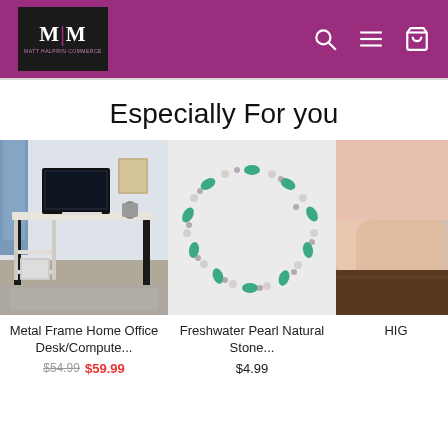M|M store header with logo and navigation icons (search, menu, cart)
Especially For you
[Figure (photo): Metal frame home office desk with shelves, computer monitor on top, printer below, in a room setting]
Metal Frame Home Office Desk/Compute...
$54.99  $59.99
[Figure (photo): Freshwater pearl natural stone beaded necklace/bracelet on light gray background]
Freshwater Pearl Natural Stone...
$4.99
[Figure (photo): Partial view of a third product, partially cut off on right edge]